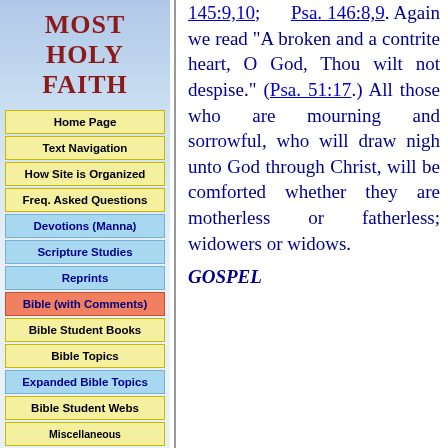MOST HOLY FAITH
Home Page
Text Navigation
How Site is Organized
Freq. Asked Questions
Devotions (Manna)
Scripture Studies
Reprints
Bible (with Comments)
Bible Student Books
Bible Topics
Expanded Bible Topics
Bible Student Webs
Miscellaneous
145:9,10; Psa. 146:8,9. Again we read "A broken and a contrite heart, O God, Thou wilt not despise." (Psa. 51:17.) All those who are mourning and sorrowful, who will draw nigh unto God through Christ, will be comforted whether they are motherless or fatherless; widowers or widows.
GOSPEL